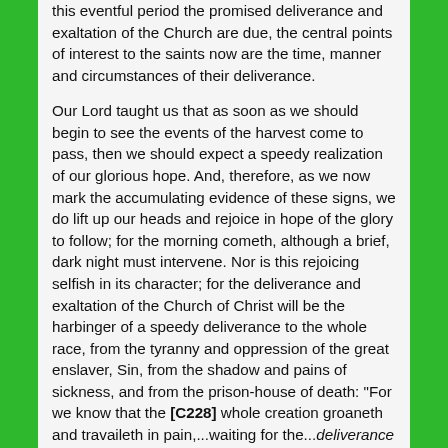this eventful period the promised deliverance and exaltation of the Church are due, the central points of interest to the saints now are the time, manner and circumstances of their deliverance.

Our Lord taught us that as soon as we should begin to see the events of the harvest come to pass, then we should expect a speedy realization of our glorious hope. And, therefore, as we now mark the accumulating evidence of these signs, we do lift up our heads and rejoice in hope of the glory to follow; for the morning cometh, although a brief, dark night must intervene. Nor is this rejoicing selfish in its character; for the deliverance and exaltation of the Church of Christ will be the harbinger of a speedy deliverance to the whole race, from the tyranny and oppression of the great enslaver, Sin, from the shadow and pains of sickness, and from the prison-house of death: "For we know that the [C228] whole creation groaneth and travaileth in pain,...waiting for the...deliverance of OUR BODY"--the "body of Christ" (Rom. 8:22,23); because, according to